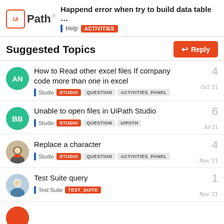Happend error when try to build data table ... | Help | ACTIVITIES
Suggested Topics
How to Read other excel files If company code more than one in excel | Studio | STUDIO | QUESTION | ACTIVITIES_PANEL | Oct '21 | 4
Unable to open files in UiPath Studio | Studio | STUDIO | QUESTION | UIPATH | Jul 11 | 6
Replace a character | Studio | STUDIO | QUESTION | ACTIVITIES_PANEL | Nov '21 | 4
Test Suite query | Test Suite | TEST_SUITE | Nov '21 | 1